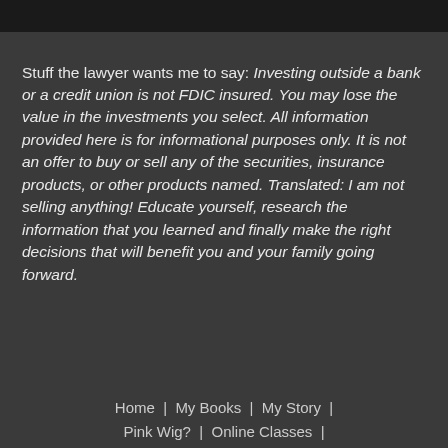Stuff the lawyer wants me to say: Investing outside a bank or a credit union is not FDIC insured. You may lose the value in the investments you select. All information provided here is for informational purposes only. It is not an offer to buy or sell any of the securities, insurance products, or other products named. Translated: I am not selling anything! Educate yourself, research the information that you learned and finally make the right decisions that will benefit you and your family going forward.
Home  |  My Books  |  My Story  |  Pink Wig?  |  Online Classes  |